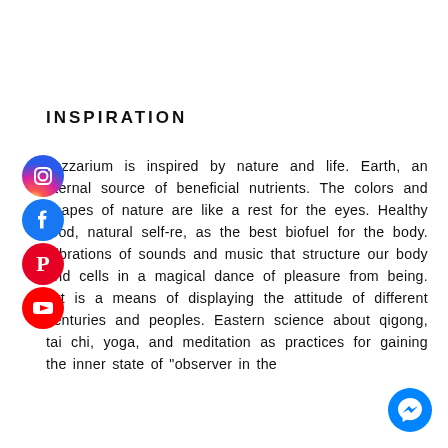INSPIRATION
[Figure (illustration): Four social media icons stacked vertically on the left side: Instagram (gradient pink/purple/orange circle), Facebook (blue circle with white f), Pinterest (red circle with white P), YouTube (red circle with white play button)]
vezzarium is inspired by nature and life. Earth, an eternal source of beneficial nutrients. The colors and shapes of nature are like a rest for the eyes. Healthy food, natural self-re, as the best biofuel for the body. Vibrations of sounds and music that structure our body and cells in a magical dance of pleasure from being. Art is a means of displaying the attitude of different centuries and peoples. Eastern science about qigong, tai chi, yoga, and meditation as practices for gaining the inner state of "observer in the
[Figure (illustration): Messenger chat bubble icon, blue circle with white lightning bolt/chat symbol, bottom-right corner]